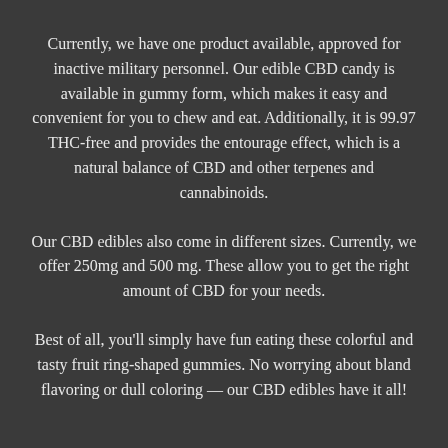Currently, we have one product available, approved for inactive military personnel. Our edible CBD candy is available in gummy form, which makes it easy and convenient for you to chew and eat. Additionally, it is 99.97 THC-free and provides the entourage effect, which is a natural balance of CBD and other terpenes and cannabinoids.
Our CBD edibles also come in different sizes. Currently, we offer 250mg and 500 mg. These allow you to get the right amount of CBD for your needs.
Best of all, you'll simply have fun eating these colorful and tasty fruit ring-shaped gummies. No worrying about bland flavoring or dull coloring — our CBD edibles have it all!